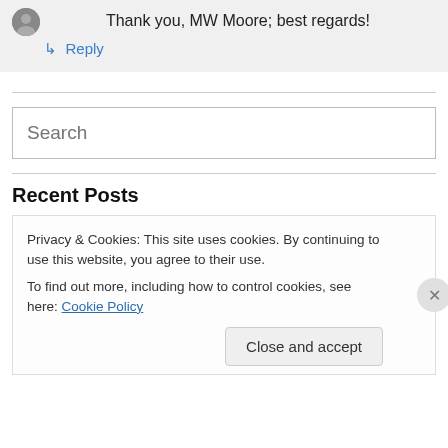Thank you, MW Moore; best regards!
↳ Reply
Search
Recent Posts
Privacy & Cookies: This site uses cookies. By continuing to use this website, you agree to their use.
To find out more, including how to control cookies, see here: Cookie Policy
Close and accept